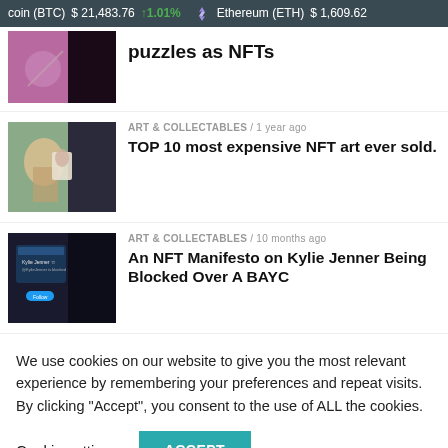coin (BTC)  $21,483.76  ↑1.01%   Ethereum (ETH)  $1,609.62
puzzles as NFTs
ART & COLLECTABLES / 1 year ago
TOP 10 most expensive NFT art ever sold.
ART & COLLECTABLES / 10 months ago
An NFT Manifesto on Kylie Jenner Being Blocked Over A BAYC
We use cookies on our website to give you the most relevant experience by remembering your preferences and repeat visits. By clicking "Accept", you consent to the use of ALL the cookies.
Cookie settings   ACCEPT